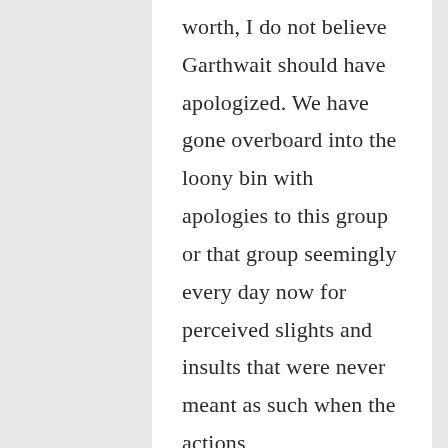worth, I do not believe Garthwait should have apologized. We have gone overboard into the loony bin with apologies to this group or that group seemingly every day now for perceived slights and insults that were never meant as such when the actions